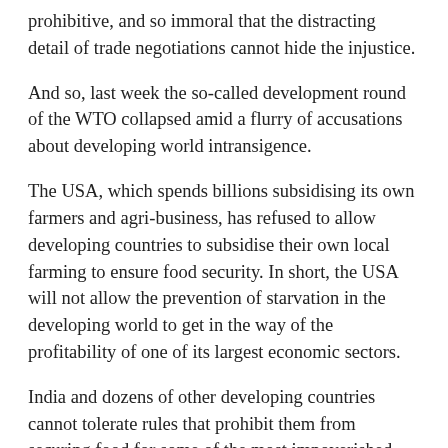prohibitive, and so immoral that the distracting detail of trade negotiations cannot hide the injustice.
And so, last week the so-called development round of the WTO collapsed amid a flurry of accusations about developing world intransigence.
The USA, which spends billions subsidising its own farmers and agri-business, has refused to allow developing countries to subsidise their own local farming to ensure food security. In short, the USA will not allow the prevention of starvation in the developing world to get in the way of the profitability of one of its largest economic sectors.
India and dozens of other developing countries cannot tolerate rules that prohibit them from securing food for some of the most impoverished people on the planet. Nor should they.
It is not only food security that is in the sights of free trade negotiators. The Trade In Services Agreement aims to open up many areas of public services such as education, health, water and energy to private providers. Anyone who's looked at the increased tariffs for energy after privatisation of a public energy utility knows why this will not be acceptable.